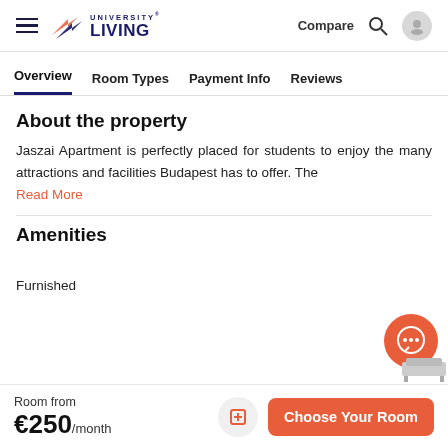University Living — Compare
Overview  Room Types  Payment Info  Reviews
About the property
Jaszai Apartment is perfectly placed for students to enjoy the many attractions and facilities Budapest has to offer. The Read More
Amenities
Furnished
Room from €250/month
Choose Your Room